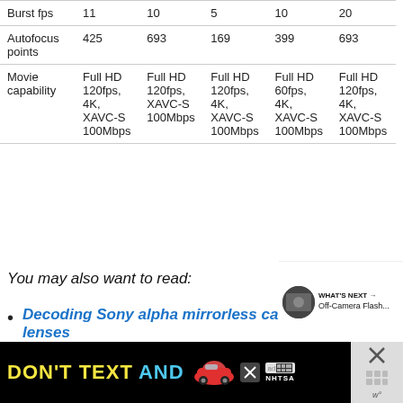|  |  |  |  |  |  |
| --- | --- | --- | --- | --- | --- |
| Burst fps | 11 | 10 | 5 | 10 | 20 |
| Autofocus points | 425 | 693 | 169 | 399 | 693 |
| Movie capability | Full HD 120fps, 4K, XAVC-S 100Mbps | Full HD 120fps, XAVC-S 100Mbps | Full HD 120fps, 4K, XAVC-S 100Mbps | Full HD 60fps, 4K, XAVC-S 100Mbps | Full HD 120fps, 4K, XAVC-S 100Mbps |
You may also want to read:
Decoding Sony alpha mirrorless cameras lenses
[Figure (infographic): Advertisement banner: DON'T TEXT AND [car image] with ad badge and NHTSA logo]